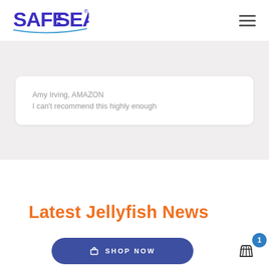SAFE SEA
Amy Irving, AMAZON
I can't recommend this highly enough
Latest Jellyfish News
SHOP NOW